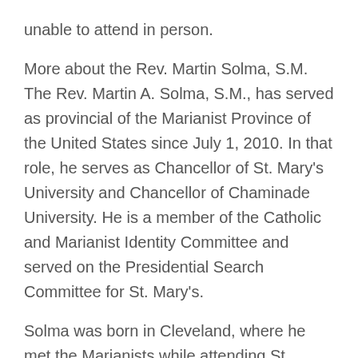unable to attend in person.
More about the Rev. Martin Solma, S.M. The Rev. Martin A. Solma, S.M., has served as provincial of the Marianist Province of the United States since July 1, 2010. In that role, he serves as Chancellor of St. Mary's University and Chancellor of Chaminade University. He is a member of the Catholic and Marianist Identity Committee and served on the Presidential Search Committee for St. Mary's.
Solma was born in Cleveland, where he met the Marianists while attending St.